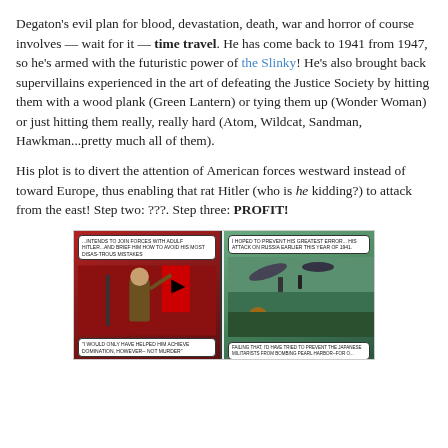Degaton's evil plan for blood, devastation, death, war and horror of course involves — wait for it — time travel. He has come back to 1941 from 1947, so he's armed with the futuristic power of the Slinky! He's also brought back supervillains experienced in the art of defeating the Justice Society by hitting them with a wood plank (Green Lantern) or tying them up (Wonder Woman) or just hitting them really, really hard (Atom, Wildcat, Sandman, Hawkman...pretty much all of them).
His plot is to divert the attention of American forces westward instead of toward Europe, thus enabling that rat Hitler (who is he kidding?) to attack from the east! Step two: ???. Step three: PROFIT!
[Figure (illustration): Two comic book panels side by side. Left panel shows a figure resembling Hitler in a red/dark setting with a Nazi flag, with speech bubbles. Right panel shows aerial combat or bombing scene in green/teal tones with speech bubbles.]